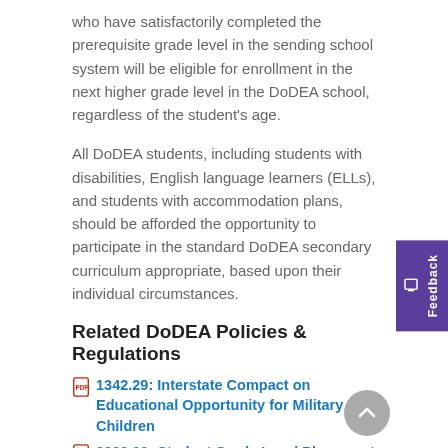who have satisfactorily completed the prerequisite grade level in the sending school system will be eligible for enrollment in the next higher grade level in the DoDEA school, regardless of the student’s age.
All DoDEA students, including students with disabilities, English language learners (ELLs), and students with accommodation plans, should be afforded the opportunity to participate in the standard DoDEA secondary curriculum appropriate, based upon their individual circumstances.
Related DoDEA Policies & Regulations
1342.29: Interstate Compact on Educational Opportunity for Military Children
2000.03: Student Grade Level Placement
Transcripts/Records Policy/Access to Student